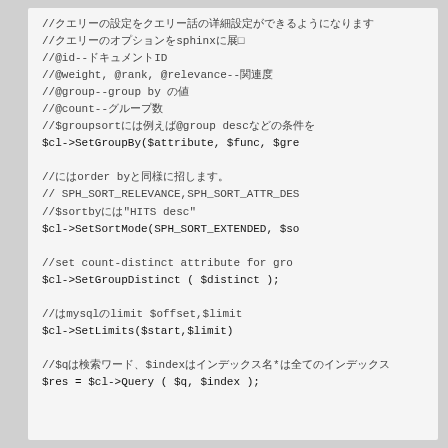//検索ワードについての詳細設定ができるようになります
//クエリーのオプションをsphinxに展間
//@id--ドキュメントID
//@weight, @rank, @relevance--関連度
//@group--group by の値
//@count--グループ数
//$groupsortには例えば@group descなどの条件を
$cl->SetGroupBy($attribute, $func, $gre

//にはorder byと同様に柘します。
// SPH_SORT_RELEVANCE,SPH_SORT_ATTR_DES
//$sortbyには"HITS desc"
$cl->SetSortMode(SPH_SORT_EXTENDED, $so

//set count-distinct attribute for gro
$cl->SetGroupDistinct ( $distinct );

//はmysqlのlimit $offset,$limit
$cl->SetLimits($start,$limit)

//$qは検索ワード、$indexはインデックス名*は全てのインデックス
$res = $cl->Query ( $q, $index );